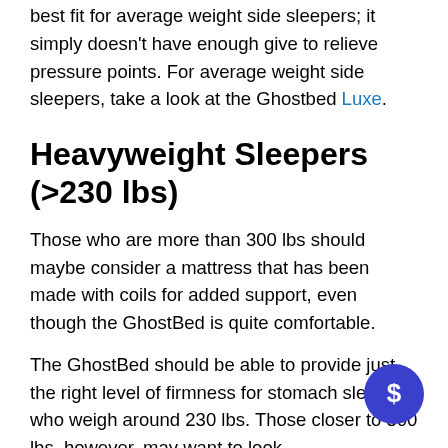best fit for average weight side sleepers; it simply doesn't have enough give to relieve pressure points. For average weight side sleepers, take a look at the Ghostbed Luxe.
Heavyweight Sleepers (>230 lbs)
Those who are more than 300 lbs should maybe consider a mattress that has been made with coils for added support, even though the GhostBed is quite comfortable.
The GhostBed should be able to provide just the right level of firmness for stomach sleepers who weigh around 230 lbs. Those closer to 300 lbs, however, may want to look for something...